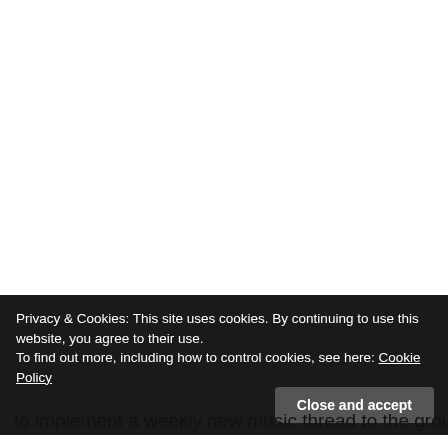Privacy & Cookies: This site uses cookies. By continuing to use this website, you agree to their use.
To find out more, including how to control cookies, see here: Cookie Policy
Close and accept
to implement a weekly new music thread to the groups